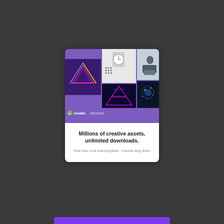[Figure (illustration): Envato Elements promotional card. Top section has a purple/violet background with a collage of creative assets: a neon triangle graphic, a watch product photo, a retro neon 'Flashback' text graphic, a photo of a person working at a desk, and an abstract blue particle image. Bottom of the top section shows the Envato elements logo. The white bottom section contains bold text 'Millions of creative assets, unlimited downloads.' and lighter text 'One low cost subscription. Cancel any time.']
Millions of creative assets, unlimited downloads.
One low cost subscription. Cancel any time.